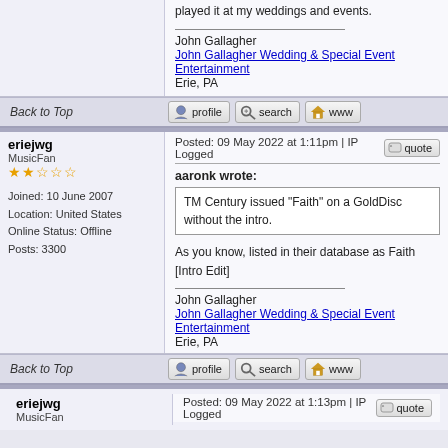played it at my weddings and events.

John Gallagher
John Gallagher Wedding & Special Event Entertainment
Erie, PA
Back to Top
eriejwg
MusicFan
Joined: 10 June 2007
Location: United States
Online Status: Offline
Posts: 3300
Posted: 09 May 2022 at 1:11pm | IP Logged
aaronk wrote:
TM Century issued "Faith" on a GoldDisc without the intro.
As you know, listed in their database as Faith [Intro Edit]

John Gallagher
John Gallagher Wedding & Special Event Entertainment
Erie, PA
Back to Top
eriejwg
MusicFan
Posted: 09 May 2022 at 1:13pm | IP Logged